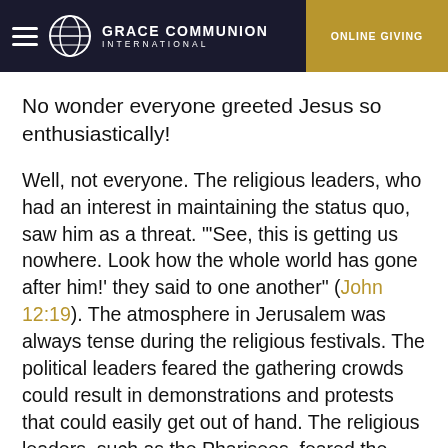GRACE COMMUNION INTERNATIONAL | ONLINE GIVING
No wonder everyone greeted Jesus so enthusiastically!
Well, not everyone. The religious leaders, who had an interest in maintaining the status quo, saw him as a threat. "'See, this is getting us nowhere. Look how the whole world has gone after him!' they said to one another" (John 12:19). The atmosphere in Jerusalem was always tense during the religious festivals. The political leaders feared the gathering crowds could result in demonstrations and protests that could easily get out of hand. The religious leaders, such as the Pharisees, feared the same since they did not want to give their Roman overlords an excuse to